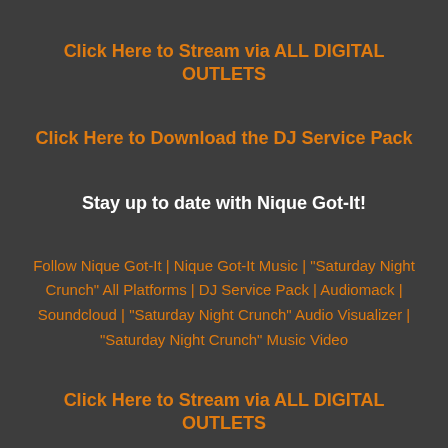Click Here to Stream via ALL DIGITAL OUTLETS
Click Here to Download the DJ Service Pack
Stay up to date with Nique Got-It!
Follow Nique Got-It | Nique Got-It Music | “Saturday Night Crunch” All Platforms | DJ Service Pack | Audiomack | Soundcloud | “Saturday Night Crunch” Audio Visualizer | “Saturday Night Crunch” Music Video
Click Here to Stream via ALL DIGITAL OUTLETS